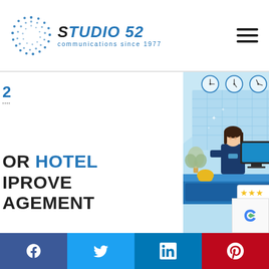Studio 52 — communications since 1977
[Figure (illustration): Hotel reception desk illustration with a female receptionist at a computer, three clocks on the wall, a plant, and a star rating display. Light blue background.]
...OR HOTEL IMPROVE AGEMENT
[Figure (logo): reCAPTCHA badge partially visible in bottom-right corner]
Social share buttons: Facebook, Twitter, LinkedIn, Pinterest